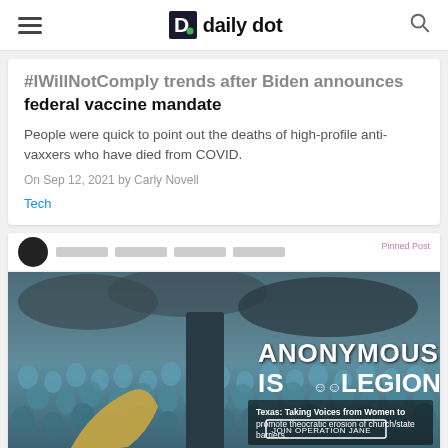daily dot
#IWillNotComply trends after Biden announces federal vaccine mandate
People were quick to point out the deaths of high-profile anti-vaxxers who have died from COVID.
On Sep 12, 2021 by Carly Novell
Tech
[Figure (screenshot): Screenshot of a Facebook post showing an Anonymous hacker group image with the text 'ANONYMOUS IS LEGION' and details about Texas: Taking Voices from Women to promote theocratic erosion of church/state barriers. JOIN OPERATION JANE button visible.]
Anonymous hacks Texas GOP website, floods it